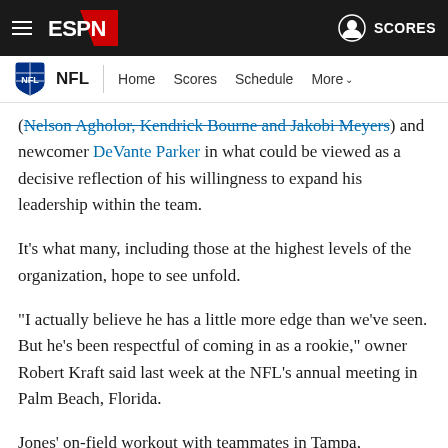ESPN — NFL | Home | Scores | Schedule | More | SCORES
(Nelson Agholor, Kendrick Bourne and Jakobi Meyers) and newcomer DeVante Parker in what could be viewed as a decisive reflection of his willingness to expand his leadership within the team.
It's what many, including those at the highest levels of the organization, hope to see unfold.
"I actually believe he has a little more edge than we've seen. But he's been respectful of coming in as a rookie," owner Robert Kraft said last week at the NFL's annual meeting in Palm Beach, Florida.
Jones' on-field workout with teammates in Tampa, Agholor's hometown, figures to be one of many this offseason. The Patriots' official voluntary offseason program begins April 18